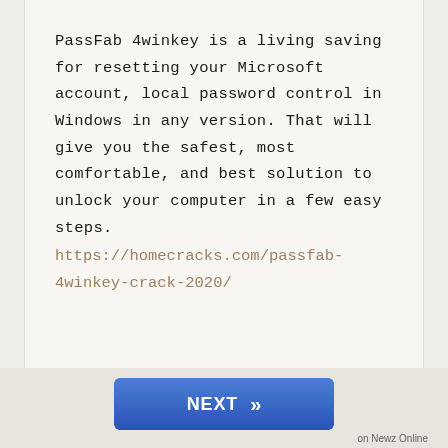PassFab 4winkey is a living saving for resetting your Microsoft account, local password control in Windows in any version. That will give you the safest, most comfortable, and best solution to unlock your computer in a few easy steps.
https://homecracks.com/passfab-4winkey-crack-2020/
Reply
[Figure (other): Blue NEXT button with double-arrow chevron, and Newz Online label below]